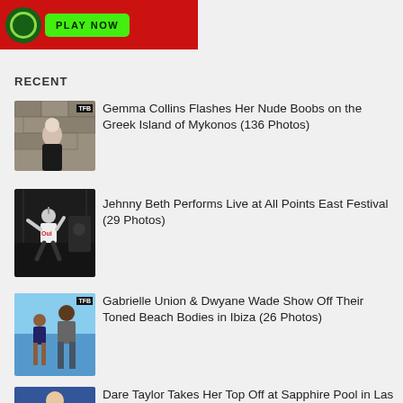[Figure (screenshot): Red banner advertisement with green circle logo and green PLAY NOW button]
RECENT
[Figure (photo): Thumbnail photo of Gemma Collins with TFB watermark]
Gemma Collins Flashes Her Nude Boobs on the Greek Island of Mykonos (136 Photos)
[Figure (photo): Thumbnail photo of Jehnny Beth performing on stage]
Jehnny Beth Performs Live at All Points East Festival (29 Photos)
[Figure (photo): Thumbnail photo of Gabrielle Union and Dwyane Wade at beach with TFB watermark]
Gabrielle Union & Dwyane Wade Show Off Their Toned Beach Bodies in Ibiza (26 Photos)
[Figure (photo): Thumbnail photo of Dare Taylor]
Dare Taylor Takes Her Top Off at Sapphire Pool in Las Vegas (7 Photos)